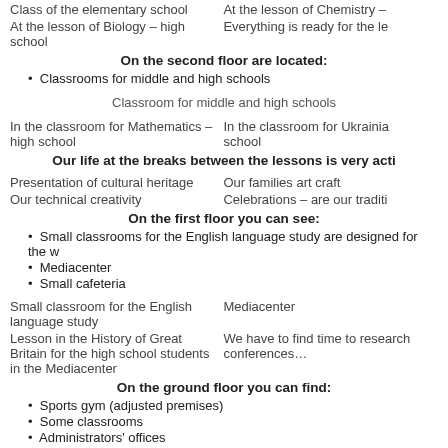Class of the elementary school
At the lesson of Chemistry –
At the lesson of Biology – high school
Everything is ready for the le
On the second floor are located:
Classrooms for middle and high schools
Classroom for middle and high schools
In the classroom for Mathematics – high school
In the classroom for Ukrainia school
Our life at the breaks between the lessons is very acti
Presentation of cultural heritage
Our families art craft
Our technical creativity
Celebrations – are our traditi
On the first floor you can see:
Small classrooms for the English language study are designed for the w
Mediacenter
Small cafeteria
Small classroom for the English language study
Mediacenter
Lesson in the History of Great Britain for the high school students in the Mediacenter
We have to find time to research conferences…
On the ground floor you can find:
Sports gym (adjusted premises)
Some classrooms
Administrators' offices
Sports gym